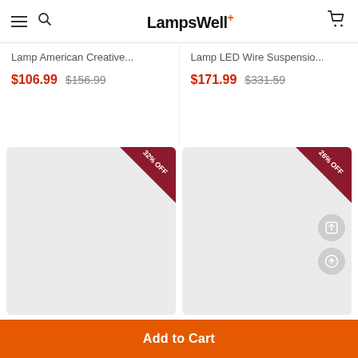LampsWell+
Lamp American Creative...
$106.99  $156.99
Lamp LED Wire Suspensio...
$171.99  $331.59
[Figure (screenshot): Product image placeholder for Nordic Lotus Leaf Lighting with 32% OFF badge]
[Figure (screenshot): Product image placeholder for Modern LED Crystal with 26% OFF badge and share/upload action buttons]
Nordic Lotus Leaf Lighting
Modern LED Crystal
Add to Cart